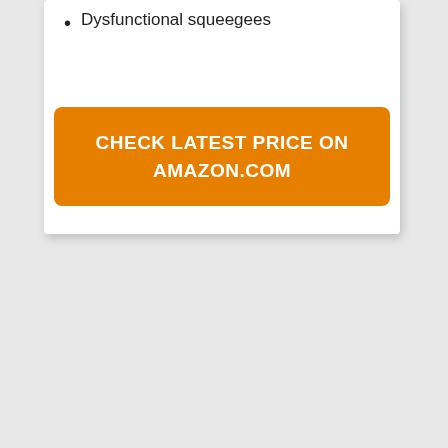Dysfunctional squeegees
CHECK LATEST PRICE ON AMAZON.COM